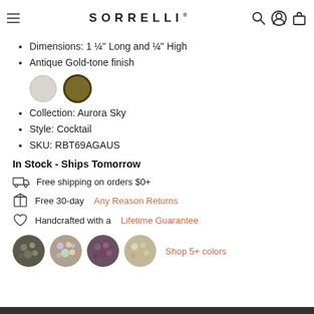SORRELLI®
Big, bold glamour! The large emerald cut crystal of this cocktail ring will leave all eyes on you.
Dimensions: 1 ¼" Long and ¼" High
Antique Gold-tone finish
[Figure (other): Two finish swatches: silver/crystal (left, unselected) and antique gold (right, selected with dark border)]
Collection: Aurora Sky
Style: Cocktail
SKU: RBT69AGAUS
In Stock - Ships Tomorrow
Free shipping on orders $0+
Free 30-day Any Reason Returns
Handcrafted with a Lifetime Guarantee
[Figure (other): Four circular product color thumbnail images and a 'Shop 5+ colors' link in coral/salmon color]